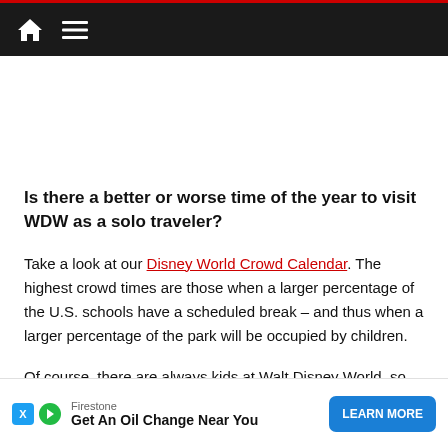Navigation bar with home icon and menu icon
Is there a better or worse time of the year to visit WDW as a solo traveler?
Take a look at our Disney World Crowd Calendar. The highest crowd times are those when a larger percentage of the U.S. schools have a scheduled break – and thus when a larger percentage of the park will be occupied by children.
Of course, there are always kids at Walt Disney World, so there will never be an…
In 2022, the lowe…
[Figure (other): Advertisement banner: Firestone - Get An Oil Change Near You with LEARN MORE button]